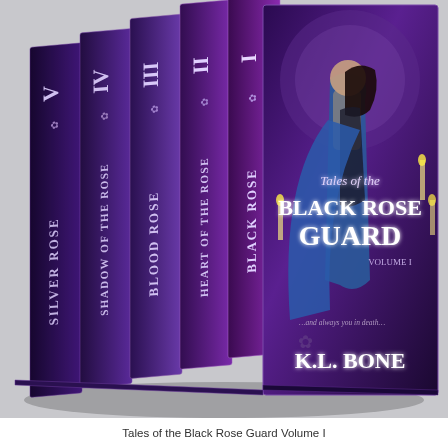[Figure (illustration): Book box set cover for 'Tales of the Black Rose Guard Volume I' by K.L. Bone. Shows 5 book spines fanned out (left to right): Silver Rose V, Shadow of the Rose IV, Blood Rose III, Heart of the Rose II, Black Rose I. The front cover shows a medieval knight in chainmail and blue cloak embracing a dark-haired woman against a purple moonlit background with candles. Text on front: 'Tales of the Black Rose Guard Volume I', '…and always you in death', 'K.L. Bone'.]
Tales of the Black Rose Guard Volume I